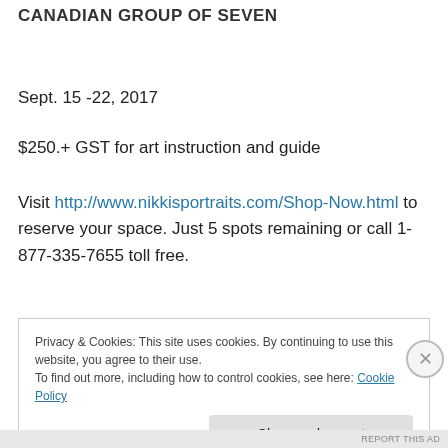CANADIAN GROUP OF SEVEN
Sept. 15 -22, 2017
$250.+ GST for art instruction and guide
Visit http://www.nikkisportraits.com/Shop-Now.html to reserve your space. Just 5 spots remaining or call 1-877-335-7655 toll free.
Privacy & Cookies: This site uses cookies. By continuing to use this website, you agree to their use.
To find out more, including how to control cookies, see here: Cookie Policy
Close and accept